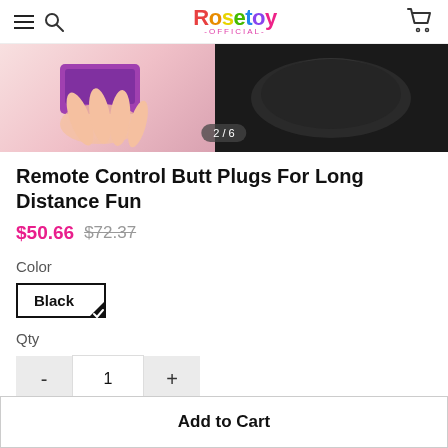Rosetoy Official
[Figure (photo): Product image showing a hand pressing a purple remote control on the left, and a black butt plug device on the right, with a slide indicator showing 2/6]
Remote Control Butt Plugs For Long Distance Fun
$50.66  $72.37
Color
Black
Qty
- 1 +
Add to Cart